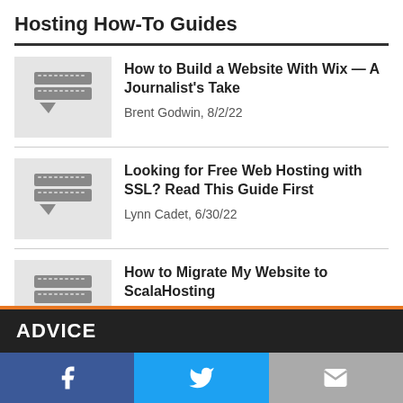Hosting How-To Guides
How to Build a Website With Wix — A Journalist's Take | Brent Godwin, 8/2/22
Looking for Free Web Hosting with SSL? Read This Guide First | Lynn Cadet, 6/30/22
How to Migrate My Website to ScalaHosting | Contributing Experts, 6/15/22
ADVICE
Facebook | Twitter | Email